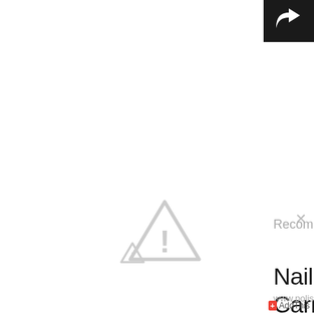[Figure (screenshot): Share/forward button icon on black background in top-right corner]
[Figure (illustration): Gray warning triangle with exclamation mark, centered on page]
[Figure (illustration): Small gray warning triangle icon on left side]
Recommended for you
Nail Look for Carnival: Gol...
www.polishedpolyglot.com
AddThis